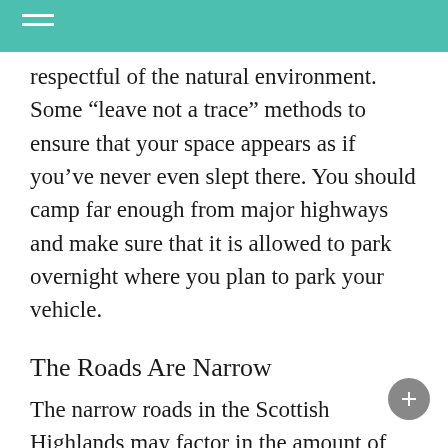respectful of the natural environment. Some “leave not a trace” methods to ensure that your space appears as if you’ve never even slept there. You should camp far enough from major highways and make sure that it is allowed to park overnight where you plan to park your vehicle.
The Roads Are Narrow
The narrow roads in the Scottish Highlands may factor in the amount of time required to travel from point A to B. The roads narrow as farther you drive away from the larger cities. These roads are one-lane Lambs are usually